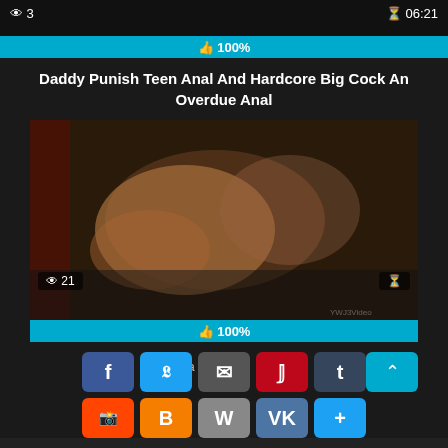[Figure (screenshot): Adult video thumbnail website screenshot showing a video with view count 3 and duration 06:21, a 100% rating bar, video title, a thumbnail image with view count 21, another 100% rating bar, and social sharing buttons]
👁 3
⏱ 06:21
👍 100%
Daddy Punish Teen Anal And Hardcore Big Cock An Overdue Anal
👁 21
👍 100%